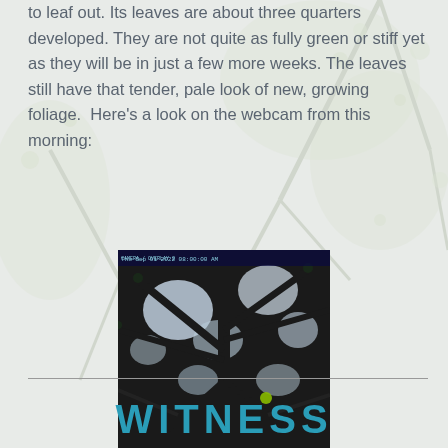to leaf out. Its leaves are about three quarters developed. They are not quite as fully green or stiff yet as they will be in just a few more weeks. The leaves still have that tender, pale look of new, growing foliage.  Here's a look on the webcam from this morning:
[Figure (photo): Webcam photo looking up at tree canopy, showing dark branches against bright sky with dappled light through leaves. Timestamp overlay visible at top of image.]
WITNESS